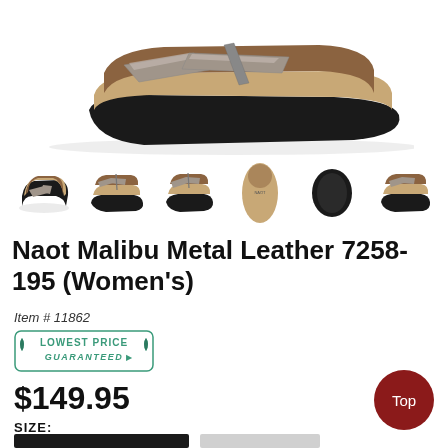[Figure (photo): Main product image: Naot Malibu sandal in metallic/pewter leather with cork footbed, shown from a top-down angled perspective. Two metallic straps cross the toes, black rubber sole.]
[Figure (photo): Six small thumbnail images of the sandal: three-quarter view, side view, front view, top-down sole view, bottom sole (black), and side/back view.]
Naot Malibu Metal Leather 7258-195 (Women's)
Item # 11862
[Figure (logo): Lowest Price Guaranteed badge in teal/green color with decorative border and leaf motifs.]
$149.95
Top
SIZE: